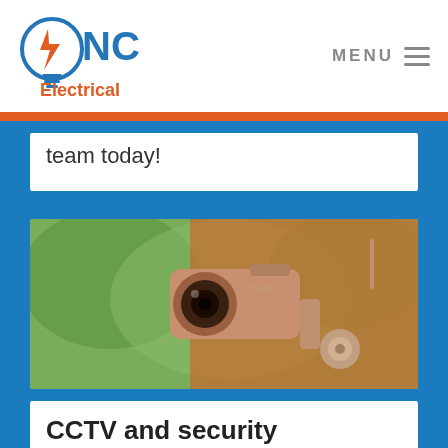[Figure (logo): NC Electrical logo with lightbulb icon, blue circle with lightning bolt, text 'NC Electrical' in blue and orange]
MENU
team today!
[Figure (photo): Security CCTV bullet camera mounted outdoors with orange color overlay, blurred green background]
CCTV and security